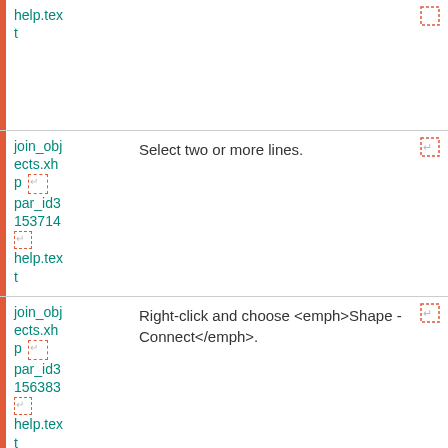| File/ID | Content | Action |
| --- | --- | --- |
| help.tex
t |  |  |
| join_obj
ects.xh
p
par_id3
153714

help.tex
t | Select two or more lines. |  |
| join_obj
ects.xh
p
par_id3
156383

help.tex
t | Right-click and choose <emph>Shape - Connect</emph>. |  |